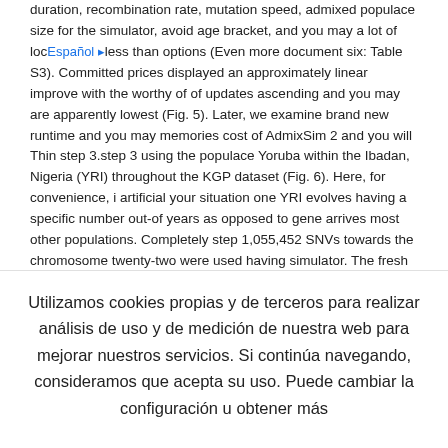duration, recombination rate, mutation speed, admixed populace size for the simulator, avoid age bracket, and you may a lot of loci less than options (Even more document six: Table S3). Committed prices displayed an approximately linear improve with the worthy of of updates ascending and you may are apparently lowest (Fig. 5). Later, we examine brand new runtime and you may memories cost of AdmixSim 2 and you will Thin step 3.step 3 using the populace Yoruba within the Ibadan, Nigeria (YRI) throughout the KGP dataset (Fig. 6). Here, for convenience, i artificial your situation one YRI evolves having a specific number out-of years as opposed to gene arrives most other populations. Completely step 1,055,452 SNVs towards the chromosome twenty-two were used having simulator. The fresh new artificial chromosome size involved 50 Mb. The new consistent recombination and you may mutation rates was basically lay just like the 10 ?8 Morgan for every ft partners and you may ten ?8 for every age bracket for each site. We number the runtime and you can level recollections need for
Utilizamos cookies propias y de terceros para realizar análisis de uso y de medición de nuestra web para mejorar nuestros servicios. Si continúa navegando, consideramos que acepta su uso. Puede cambiar la configuración u obtener más